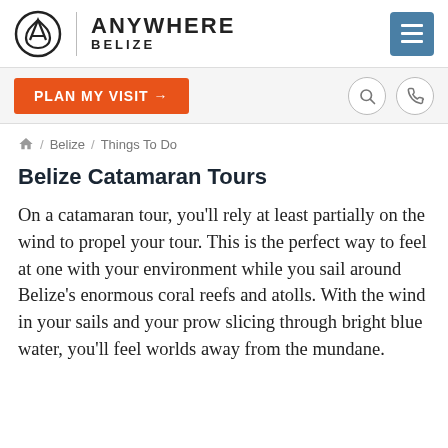ANYWHERE BELIZE
PLAN MY VISIT →
Belize / Things To Do
Belize Catamaran Tours
On a catamaran tour, you'll rely at least partially on the wind to propel your tour. This is the perfect way to feel at one with your environment while you sail around Belize's enormous coral reefs and atolls. With the wind in your sails and your prow slicing through bright blue water, you'll feel worlds away from the mundane.